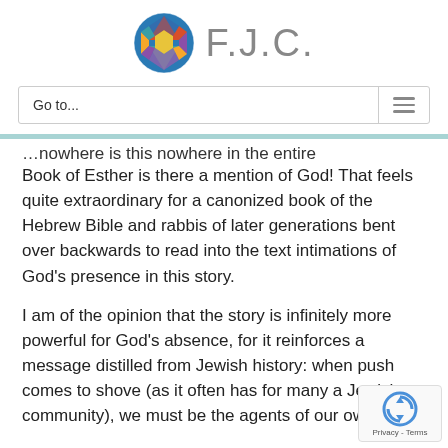[Figure (logo): F.J.C. logo with a colorful Star of David mosaic circle and the text F.J.C. in gray]
Go to...
...nowhere in the entire Book of Esther is there a mention of God! That feels quite extraordinary for a canonized book of the Hebrew Bible and rabbis of later generations bent over backwards to read into the text intimations of God’s presence in this story.
I am of the opinion that the story is infinitely more powerful for God’s absence, for it reinforces a message distilled from Jewish history: when push comes to shove (as it often has for many a Jewish community), we must be the agents of our own